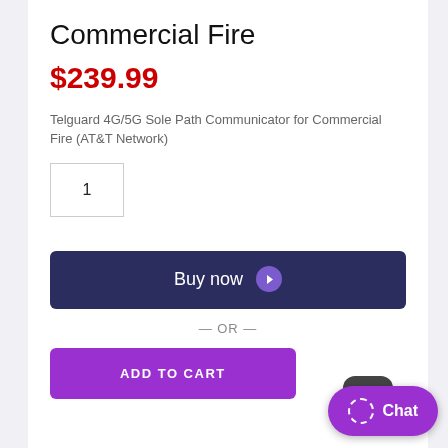Commercial Fire
$239.99
Telguard 4G/5G Sole Path Communicator for Commercial Fire (AT&T Network)
1
Buy now
— OR —
ADD TO CART
Chat